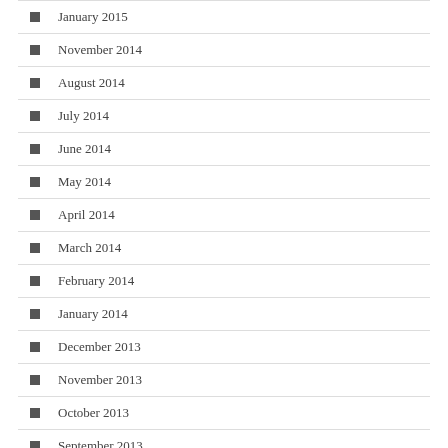January 2015
November 2014
August 2014
July 2014
June 2014
May 2014
April 2014
March 2014
February 2014
January 2014
December 2013
November 2013
October 2013
September 2013
August 2013